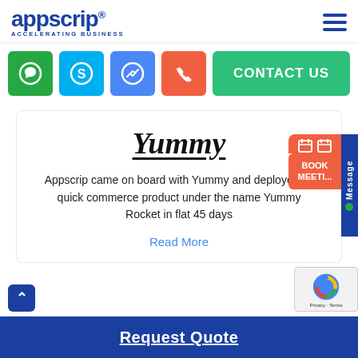[Figure (logo): Appscrip logo with text 'appscrip' in bold blue and tagline 'ACCELERATING BUSINESS']
[Figure (infographic): Contact bar with WhatsApp (green), Skype (blue), Messenger (blue), Phone (orange) icon buttons and a green 'CONTACT US' button]
[Figure (infographic): Side widgets: orange 'BOOK MEETING' button with calendar icon and blue vertical 'Message' button]
[Figure (illustration): Yummy brand card with handwritten-style 'Yummy' logo text]
Appscrip came on board with Yummy and deployed its quick commerce product under the name Yummy Rocket in flat 45 days
Read More
Request Quote